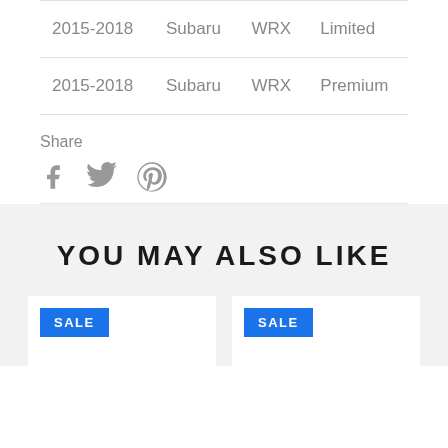| 2015-2018 | Subaru | WRX | Limited |
| 2015-2018 | Subaru | WRX | Premium |
Share
[Figure (infographic): Social share icons: Facebook (f), Twitter (bird), Pinterest (P)]
YOU MAY ALSO LIKE
[Figure (infographic): Two product cards each with a blue SALE badge, side by side on a gray background]